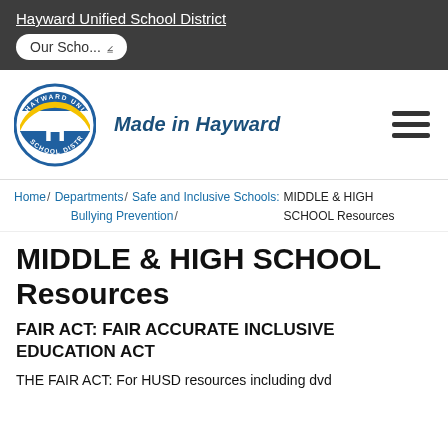Hayward Unified School District
[Figure (logo): Hayward Unified School District circular logo with H emblem in blue and gold, text 'Made in Hayward' beside it]
Home / Departments / Safe and Inclusive Schools: Bullying Prevention / MIDDLE & HIGH SCHOOL Resources
MIDDLE & HIGH SCHOOL Resources
FAIR ACT: FAIR ACCURATE INCLUSIVE EDUCATION ACT
THE FAIR ACT: For HUSD resources including dvd